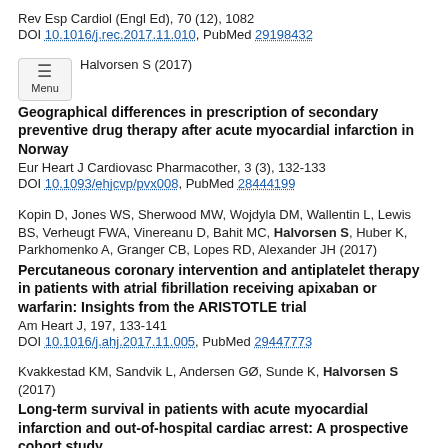Rev Esp Cardiol (Engl Ed), 70 (12), 1082
DOI 10.1016/j.rec.2017.11.010, PubMed 29198432
Halvorsen S (2017)
Geographical differences in prescription of secondary preventive drug therapy after acute myocardial infarction in Norway
Eur Heart J Cardiovasc Pharmacother, 3 (3), 132-133
DOI 10.1093/ehjcvp/pvx008, PubMed 28444199
Kopin D, Jones WS, Sherwood MW, Wojdyla DM, Wallentin L, Lewis BS, Verheugt FWA, Vinereanu D, Bahit MC, Halvorsen S, Huber K, Parkhomenko A, Granger CB, Lopes RD, Alexander JH (2017)
Percutaneous coronary intervention and antiplatelet therapy in patients with atrial fibrillation receiving apixaban or warfarin: Insights from the ARISTOTLE trial
Am Heart J, 197, 133-141
DOI 10.1016/j.ahj.2017.11.005, PubMed 29447773
Kvakkestad KM, Sandvik L, Andersen GØ, Sunde K, Halvorsen S (2017)
Long-term survival in patients with acute myocardial infarction and out-of-hospital cardiac arrest: A prospective cohort study
Resuscitation, 122, 41-47
DOI 10.1016/j.resuscitation.2017.11.047, PubMed 29155294